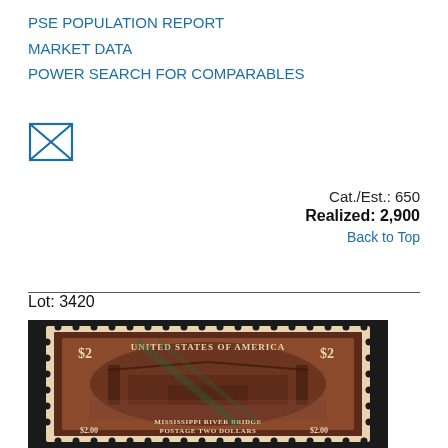PSE POPULATION REPORT
MARKET DATA
POWER SEARCH FOR COMPARABLES
[Figure (illustration): Envelope icon (letter/mail symbol) — a square with an X drawn diagonally, resembling a stylized envelope.]
Cat./Est.: 650
Realized: 2,900
Back to Top
Lot: 3420
[Figure (photo): A used US $2 Trans-Mississippi stamp (dark brown/maroon color) showing a Mississippi River Bridge scene, with visible perforations and a cancellation mark. Text on stamp reads: UNITED STATES OF AMERICA, $2, MISSISSIPPI RIVER BRIDGE, POSTAGE TWO DOLLARS.]